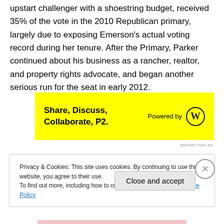upstart challenger with a shoestring budget, received 35% of the vote in the 2010 Republican primary, largely due to exposing Emerson's actual voting record during her tenure. After the Primary, Parker continued about his business as a rancher, realtor, and property rights advocate, and began another serious run for the seat in early 2012.
[Figure (other): Advertisement banner for P2 (WordPress): yellow background, bold text 'Share, Discuss, Collaborate, P2.' with 'Powered by [WordPress logo]' on the right.]
REPORT THIS AD
Privacy & Cookies: This site uses cookies. By continuing to use this website, you agree to their use.
To find out more, including how to control cookies, see here: Cookie Policy
Close and accept